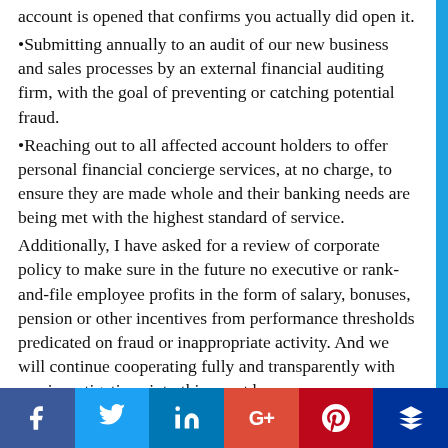account is opened that confirms you actually did open it.
•Submitting annually to an audit of our new business and sales processes by an external financial auditing firm, with the goal of preventing or catching potential fraud.
•Reaching out to all affected account holders to offer personal financial concierge services, at no charge, to ensure they are made whole and their banking needs are being met with the highest standard of service.
Additionally, I have asked for a review of corporate policy to make sure in the future no executive or rank-and-file employee profits in the form of salary, bonuses, pension or other incentives from performance thresholds predicated on fraud or inappropriate activity. And we will continue cooperating fully and transparently with any investigations into this event by